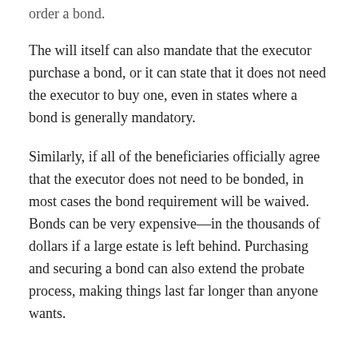order a bond.
The will itself can also mandate that the executor purchase a bond, or it can state that it does not need the executor to buy one, even in states where a bond is generally mandatory.
Similarly, if all of the beneficiaries officially agree that the executor does not need to be bonded, in most cases the bond requirement will be waived. Bonds can be very expensive—in the thousands of dollars if a large estate is left behind. Purchasing and securing a bond can also extend the probate process, making things last far longer than anyone wants.